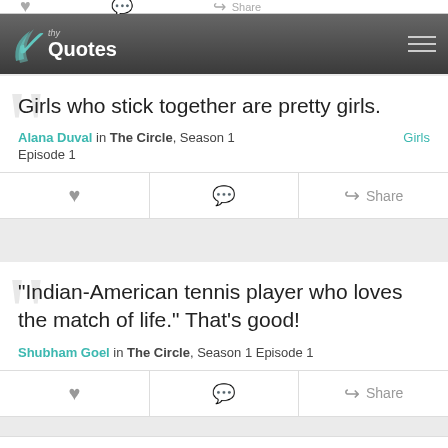thy Quotes
Girls who stick together are pretty girls.
Alana Duval in The Circle, Season 1 Episode 1
Girls
"Indian-American tennis player who loves the match of life." That's good!
Shubham Goel in The Circle, Season 1 Episode 1
Shubham, you got the name right. More than